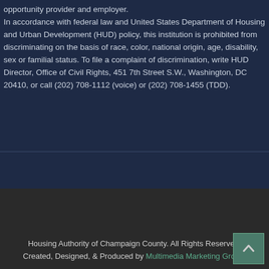opportunity provider and employer. In accordance with federal law and United States Department of Housing and Urban Development (HUD) policy, this institution is prohibited from discriminating on the basis of race, color, national origin, age, disability, sex or familial status. To file a complaint of discrimination, write HUD Director, Office of Civil Rights, 451 7th Street S.W., Washington, DC 20410, or call (202) 708-1112 (voice) or (202) 708-1455 (TDD).
Housing Authority of Champaign County. All Rights Reserved. Created, Designed, & Produced by Multimedia Marketing Group.